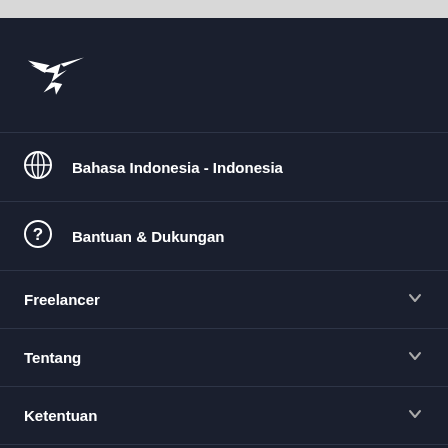[Figure (logo): Freelancer hummingbird logo in white on dark background]
Bahasa Indonesia - Indonesia
Bantuan & Dukungan
Freelancer
Tentang
Ketentuan
[Figure (screenshot): App store buttons: Available on the App Store and GET IT ON Google Play]